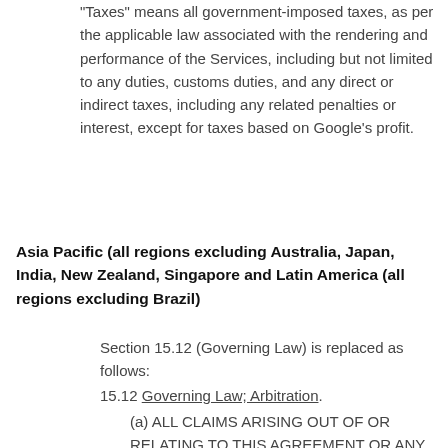"Taxes" means all government-imposed taxes, as per the applicable law associated with the rendering and performance of the Services, including but not limited to any duties, customs duties, and any direct or indirect taxes, including any related penalties or interest, except for taxes based on Google's profit.
Asia Pacific (all regions excluding Australia, Japan, India, New Zealand, Singapore and Latin America (all regions excluding Brazil)
Section 15.12 (Governing Law) is replaced as follows:
15.12 Governing Law; Arbitration.
(a) ALL CLAIMS ARISING OUT OF OR RELATING TO THIS AGREEMENT OR ANY RELATED GOOGLE PRODUCTS OR SERVICES (INCLUDING ANY